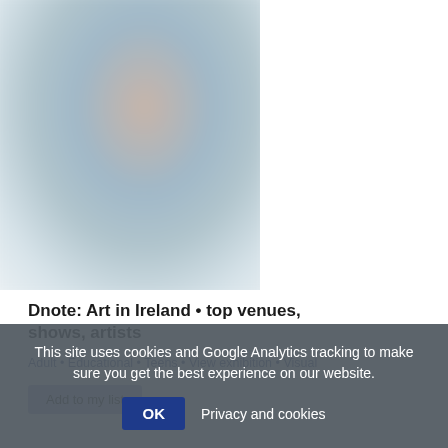[Figure (photo): Blurred thumbnail image of an art exhibit or artwork, showing soft tones of beige, blue-grey, and white]
Dnote: Art in Ireland • top venues, shows, artists
Adult • Educational • Teens • View exhibition • Visual
Add to my list
This site uses cookies and Google Analytics tracking to make sure you get the best experience on our website.
OK  Privacy and cookies